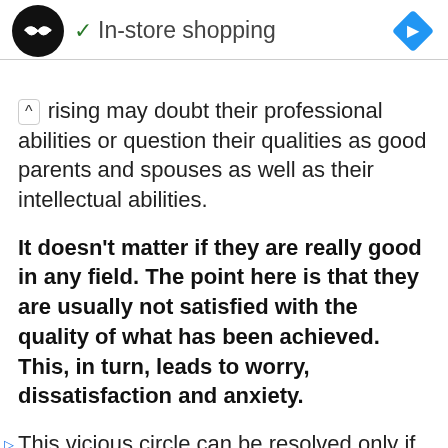[Figure (screenshot): Ad bar with a black circle logo with double arrow icon, a green checkmark and 'In-store shopping' text, a blue diamond navigation icon, and ad control arrows below.]
g rising may doubt their professional abilities or question their qualities as good parents and spouses as well as their intellectual abilities.
It doesn't matter if they are really good in any field. The point here is that they are usually not satisfied with the quality of what has been achieved. This, in turn, leads to worry, dissatisfaction and anxiety.
This vicious circle can be resolved only if the bar of their criteria and requirements for themselves and others is lowered to an average and more acceptable level.